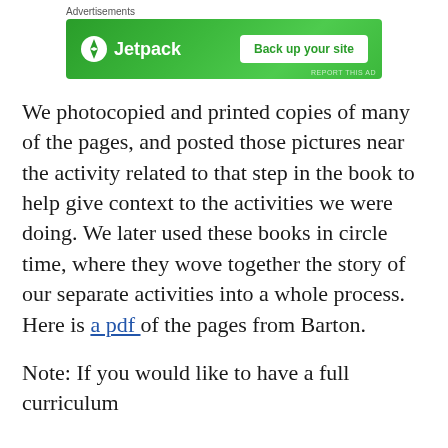[Figure (other): Jetpack advertisement banner with green background, Jetpack logo on the left and 'Back up your site' button on the right. 'Advertisements' label above the banner.]
We photocopied and printed copies of many of the pages, and posted those pictures near the activity related to that step in the book to help give context to the activities we were doing. We later used these books in circle time, where they wove together the story of our separate activities into a whole process. Here is a pdf of the pages from Barton.
Note: If you would like to have a full curriculum